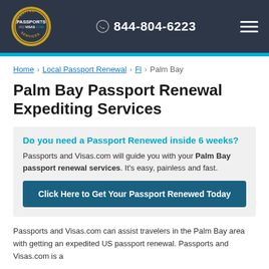[Figure (logo): Passports and Visas.com logo with circular gold border and navigation header showing phone number 844-804-6223 and hamburger menu icon]
Home > Local Passport Renewal > Fl > Palm Bay
Palm Bay Passport Renewal Expediting Services
Do you need a Passport Renewed inside 6 weeks?
Passports and Visas.com will guide you with your Palm Bay passport renewal services. It's easy, painless and fast.
Click Here to Get Your Passport Renewed Today
Passports and Visas.com can assist travelers in the Palm Bay area with getting an expedited US passport renewal. Passports and Visas.com is a